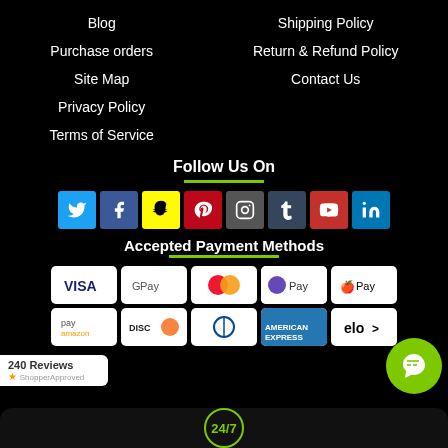Blog
Purchase orders
Site Map
Privacy Policy
Terms of Service
Shipping Policy
Return & Refund Policy
Contact Us
Follow Us On
[Figure (infographic): Social media icons row: Twitter, Facebook, Snapchat, Pinterest, Instagram, Tumblr, YouTube, LinkedIn]
Accepted Payment Methods
[Figure (infographic): Payment method logos: Visa, Google Pay, Mastercard, Samsung Pay, Apple Pay, Amazon Pay, Discover, Diners Club, American Express, Elo]
[Figure (logo): ShopperApproved badge showing 240 Reviews]
[Figure (infographic): Green chat bubble icon bottom right. Bottom bar with 24/7 logo.]